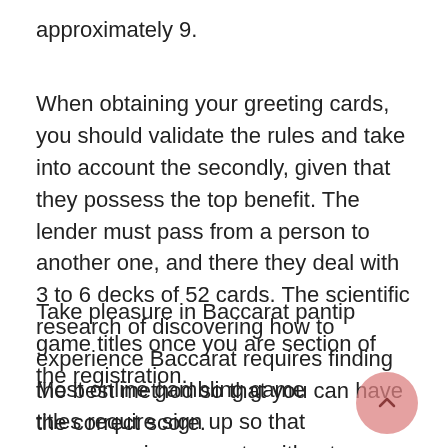approximately 9.
When obtaining your greeting cards, you should validate the rules and take into account the secondly, given that they possess the top benefit. The lender must pass from a person to another one, and there they deal with 3 to 6 decks of 52 cards. The scientific research of discovering how to experience Baccarat requires finding the best method so that you can have the correct score.
Take pleasure in Baccarat pantip game titles once you are section of the registration.
Most online gambling game titles require sign up so that you can gain access to without the need of difficulties and